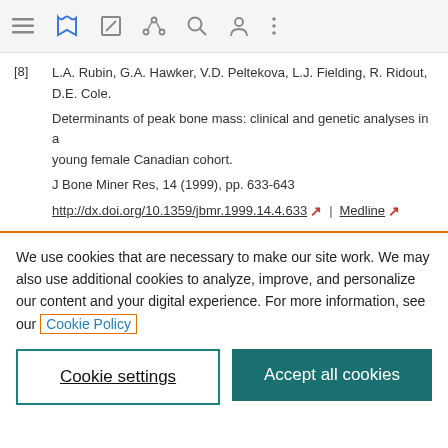Navigation bar with menu, bookmark, share, search, account, and more icons
[8] L.A. Rubin, G.A. Hawker, V.D. Peltekova, L.J. Fielding, R. Ridout, D.E. Cole. Determinants of peak bone mass: clinical and genetic analyses in a young female Canadian cohort. J Bone Miner Res, 14 (1999), pp. 633-643 http://dx.doi.org/10.1359/jbmr.1999.14.4.633 | Medline
We use cookies that are necessary to make our site work. We may also use additional cookies to analyze, improve, and personalize our content and your digital experience. For more information, see our Cookie Policy
Cookie settings | Accept all cookies